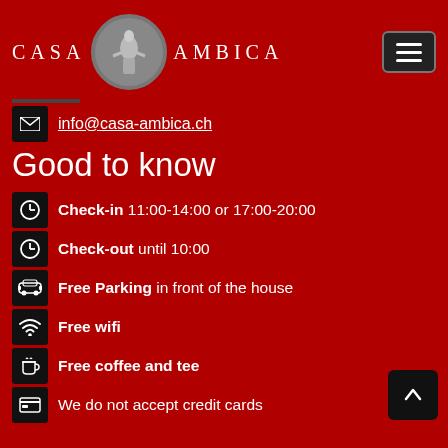[Figure (logo): Casa Ambica logo with statue in circle and text CASA AMBICA]
info@casa-ambica.ch
Good to know
Check-in 11:00-14:00 or 17:00-20:00
Check-out until 10:00
Free Parking in front of the house
Free wifi
Free coffee and tee
We do not accept credit cards